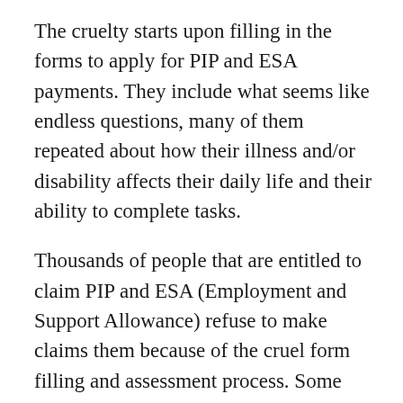The cruelty starts upon filling in the forms to apply for PIP and ESA payments. They include what seems like endless questions, many of them repeated about how their illness and/or disability affects their daily life and their ability to complete tasks.
Thousands of people that are entitled to claim PIP and ESA (Employment and Support Allowance) refuse to make claims them because of the cruel form filling and assessment process. Some give up altogether and fall under the radar for receiving financial help therefore putting their physical and mental health at risk.